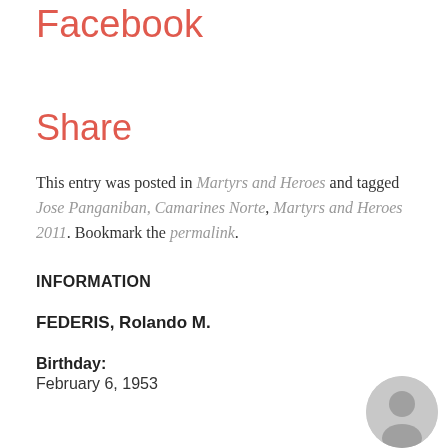Facebook
Share
This entry was posted in Martyrs and Heroes and tagged Jose Panganiban, Camarines Norte, Martyrs and Heroes 2011. Bookmark the permalink.
INFORMATION
FEDERIS, Rolando M.
Birthday:
February 6, 1953